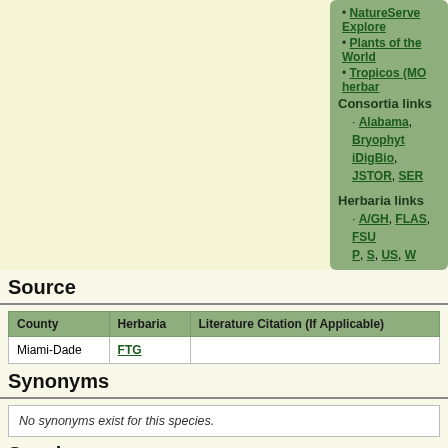NatureServe Explorer
Plants of the World
Tropicos (MO herbar…
Consortia links
Alabama, Bryophyt… iDigBio, JSTOR, SER…
Herbaria links
A/GH, FLAS, FSU… P, S, US, W
Image searches
Google Images, Yah…
Source
| County | Herbaria | Literature Citation (If Applicable) |
| --- | --- | --- |
| Miami-Dade | FTG |  |
Synonyms
No synonyms exist for this species.
Specimens